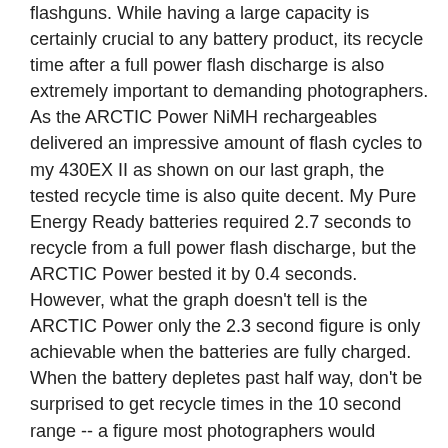flashguns. While having a large capacity is certainly crucial to any battery product, its recycle time after a full power flash discharge is also extremely important to demanding photographers. As the ARCTIC Power NiMH rechargeables delivered an impressive amount of flash cycles to my 430EX II as shown on our last graph, the tested recycle time is also quite decent. My Pure Energy Ready batteries required 2.7 seconds to recycle from a full power flash discharge, but the ARCTIC Power bested it by 0.4 seconds. However, what the graph doesn't tell is the ARCTIC Power only the 2.3 second figure is only achievable when the batteries are fully charged. When the battery depletes past half way, don't be surprised to get recycle times in the 10 second range -- a figure most photographers would consider something better measured with a calendar instead.
As far as charging time is concerned, it really depends on the size of the batteries. ARCTIC rates it to be 6.5, 5.0, and 3.6 hours for four 2700mAh, 2000mAh, and 1500mAh AA batteries, respectively; and 4.0 and 2.4 hours for four 1000mAh and 600mAh AAA batteries, respectively. From my tests, the